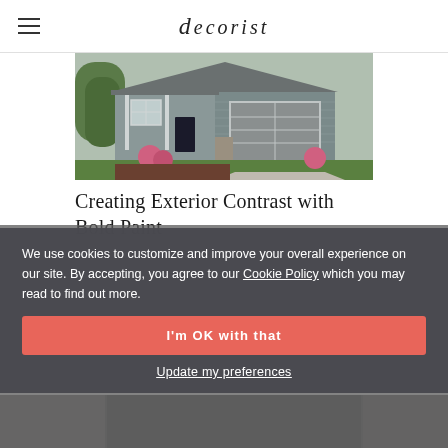decorist
[Figure (photo): Exterior photo of a suburban house with gray siding, white trim, large garage door, covered front porch, and pink flowering shrubs in the landscaping]
Creating Exterior Contrast with Bold Paint
We use cookies to customize and improve your overall experience on our site. By accepting, you agree to our Cookie Policy which you may read to find out more.
I'm OK with that
Update my preferences